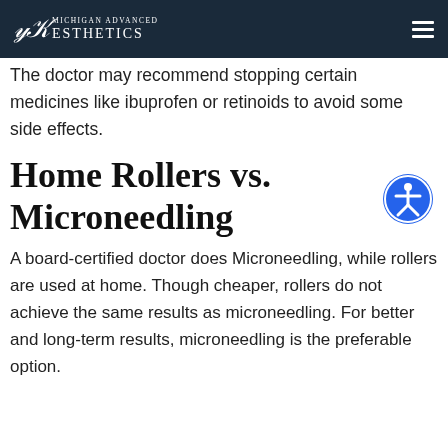Michigan Advanced Aesthetics
The doctor may recommend stopping certain medicines like ibuprofen or retinoids to avoid some side effects.
Home Rollers vs. Microneedling
A board-certified doctor does Microneedling, while rollers are used at home. Though cheaper, rollers do not achieve the same results as microneedling. For better and long-term results, microneedling is the preferable option.